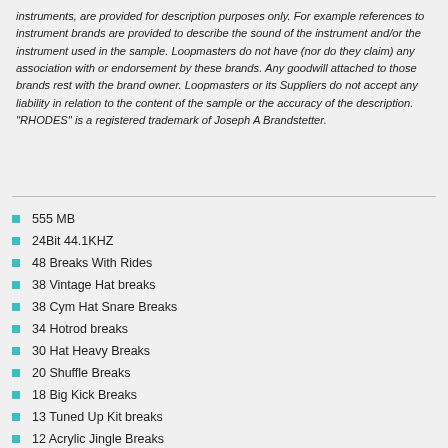instruments, are provided for description purposes only. For example references to instrument brands are provided to describe the sound of the instrument and/or the instrument used in the sample. Loopmasters do not have (nor do they claim) any association with or endorsement by these brands. Any goodwill attached to those brands rest with the brand owner. Loopmasters or its Suppliers do not accept any liability in relation to the content of the sample or the accuracy of the description. "RHODES" is a registered trademark of Joseph A Brandstetter.
555 MB
24Bit 44.1KHZ
48 Breaks With Rides
38 Vintage Hat breaks
38 Cym Hat Snare Breaks
34 Hotrod breaks
30 Hat Heavy Breaks
20 Shuffle Breaks
18 Big Kick Breaks
13 Tuned Up Kit breaks
12 Acrylic Jingle Breaks